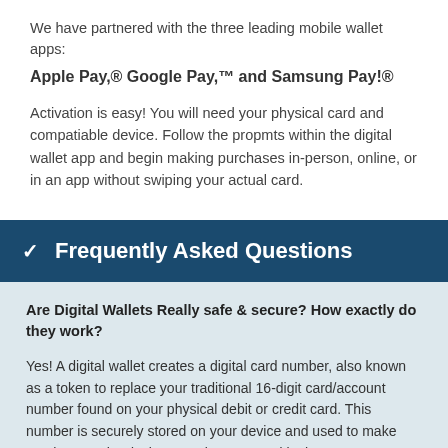We have partnered with the three leading mobile wallet apps:
Apple Pay,® Google Pay,™ and Samsung Pay!®
Activation is easy! You will need your physical card and compatiable device. Follow the propmts within the digital wallet app and begin making purchases in-person, online, or in an app without swiping your actual card.
Frequently Asked Questions
Are Digital Wallets Really safe & secure? How exactly do they work?
Yes! A digital wallet creates a digital card number, also known as a token to replace your traditional 16-digit card/account number found on your physical debit or credit card. This number is securely stored on your device and used to make purchases. The device must be protected in the same manner as your card.  The good news is, your card numbers are not stored on the device or on any servers, to help reduce the potential for fraud. You are responsible for maintaining the